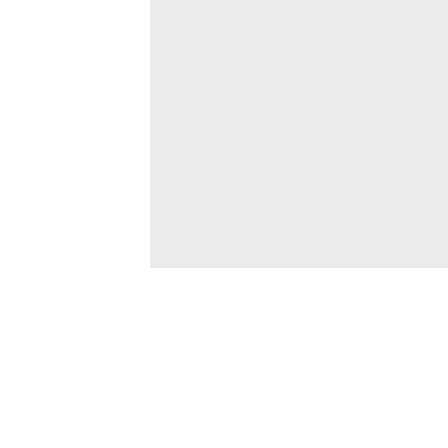[Figure (photo): A light gray rectangular placeholder image area]
[Figure (photo): Author profile section with circular avatar photo of a bearded man in a crowd and bold red name text reading Stephen Hill]